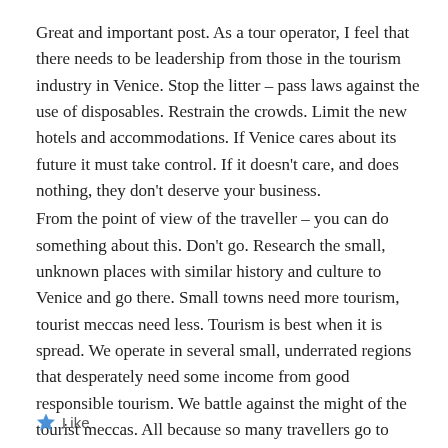Great and important post. As a tour operator, I feel that there needs to be leadership from those in the tourism industry in Venice. Stop the litter – pass laws against the use of disposables. Restrain the crowds. Limit the new hotels and accommodations. If Venice cares about its future it must take control. If it doesn't care, and does nothing, they don't deserve your business.
From the point of view of the traveller – you can do something about this. Don't go. Research the small, unknown places with similar history and culture to Venice and go there. Small towns need more tourism, tourist meccas need less. Tourism is best when it is spread. We operate in several small, underrated regions that desperately need some income from good responsible tourism. We battle against the might of the tourist meccas. All because so many travellers go to places they've heard of. Trust me, you will have more fun in a place you've never heard of!!
Like